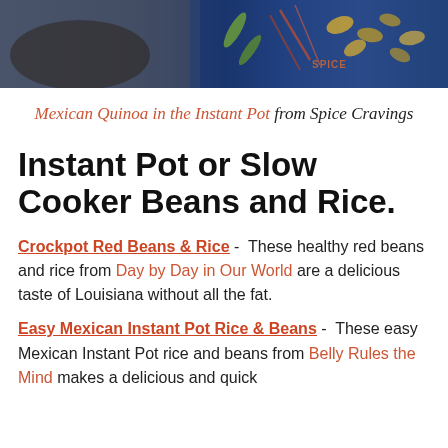[Figure (photo): Top portion of a food photo showing spices and colorful ingredients including yellow beans on a dark blue/navy background, with 'SPICE' text visible]
Mexican Quinoa in the Instant Pot from Spice Cravings
Instant Pot or Slow Cooker Beans and Rice.
Crockpot Red Beans & Rice - These healthy red beans and rice from Day by Day in Our World are a delicious taste of Louisiana without all the fat.
Easy Mexican Instant Pot Rice & Beans - These easy Mexican Instant Pot rice and beans from Belly Rules the Mind makes a delicious and quick